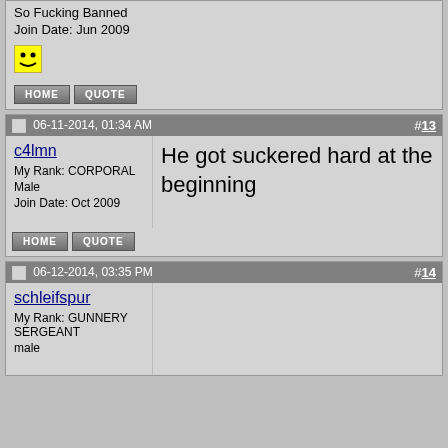So Fucking Banned
Join Date: Jun 2009
[Figure (illustration): Laughing smiley face emoji]
HOME  QUOTE
06-11-2014, 01:34 AM  #13
c4lmn
My Rank: CORPORAL
Male
Join Date: Oct 2009
He got suckered hard at the beginning
HOME  QUOTE
06-12-2014, 03:35 PM  #14
schleifspur
My Rank: GUNNERY SERGEANT
male